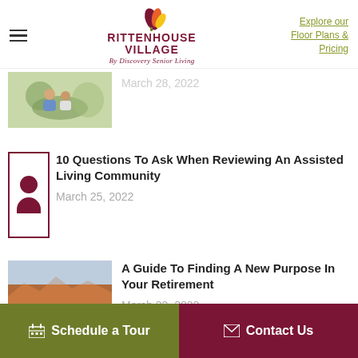Rittenhouse Village By Discovery Senior Living | Explore our Floor Plans & Pricing
March 28, 2022
10 Questions To Ask When Reviewing An Assisted Living Community
March 25, 2022
A Guide To Finding A New Purpose In Your Retirement
March 22, 2022
Schedule a Tour | Contact Us